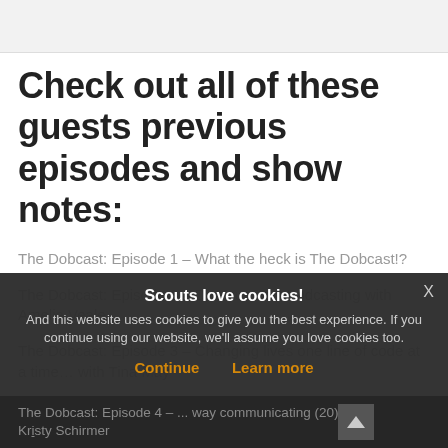[Figure (screenshot): Gray top bar area (partial screenshot top region)]
Check out all of these guests previous episodes and show notes:
The Dobcast: Episode 1 – What the heck is The Dobcast!?
The Dobcast: Episode 2 – Do Your Best Podcasting with Amelia Veale
The Dobcast: Episode 3 – Changing lives one line of code at a time… with Tina May
Scouts love cookies!
And this website uses cookies to give you the best experience. If you continue using our website, we'll assume you love cookies too.
Continue   Learn more